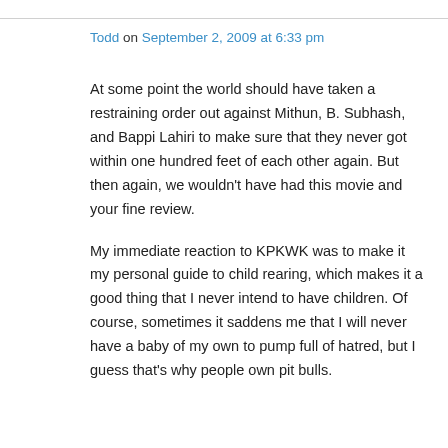Todd on September 2, 2009 at 6:33 pm
At some point the world should have taken a restraining order out against Mithun, B. Subhash, and Bappi Lahiri to make sure that they never got within one hundred feet of each other again. But then again, we wouldn't have had this movie and your fine review.
My immediate reaction to KPKWK was to make it my personal guide to child rearing, which makes it a good thing that I never intend to have children. Of course, sometimes it saddens me that I will never have a baby of my own to pump full of hatred, but I guess that's why people own pit bulls.